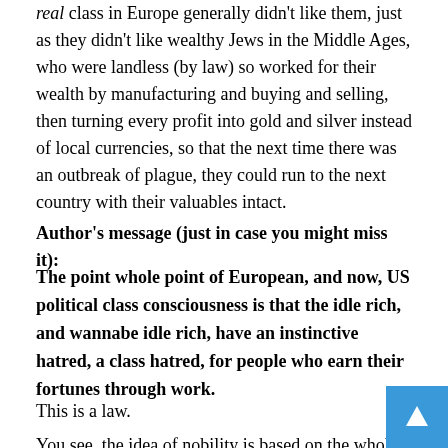real class in Europe generally didn't like them, just as they didn't like wealthy Jews in the Middle Ages, who were landless (by law) so worked for their wealth by manufacturing and buying and selling, then turning every profit into gold and silver instead of local currencies, so that the next time there was an outbreak of plague, they could run to the next country with their valuables intact.
Author's message (just in case you might miss it):
The point whole point of European, and now, US political class consciousness is that the idle rich, and wannabe idle rich, have an instinctive hatred, a class hatred, for people who earn their fortunes through work.
This is a law.
You see, the idea of nobility is based on the whole idea of not